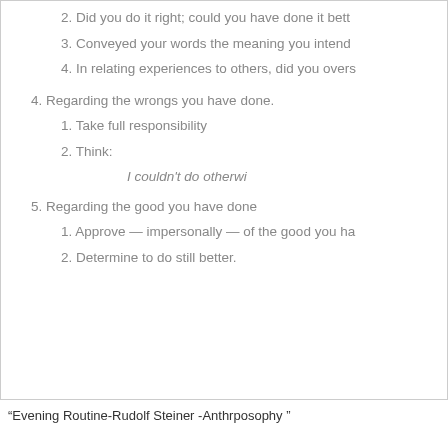2. Did you do it right; could you have done it better
3. Conveyed your words the meaning you intend
4. In relating experiences to others, did you overs
4. Regarding the wrongs you have done.
1. Take full responsibility
2. Think:
I couldn't do otherwi
5. Regarding the good you have done
1. Approve — impersonally — of the good you ha
2. Determine to do still better.
“Evening Routine-Rudolf Steiner -Anthrposophy ”